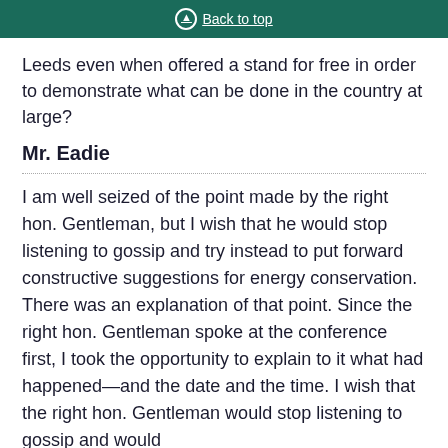Back to top
Leeds even when offered a stand for free in order to demonstrate what can be done in the country at large?
Mr. Eadie
I am well seized of the point made by the right hon. Gentleman, but I wish that he would stop listening to gossip and try instead to put forward constructive suggestions for energy conservation. There was an explanation of that point. Since the right hon. Gentleman spoke at the conference first, I took the opportunity to explain to it what had happened—and the date and the time. I wish that the right hon. Gentleman would stop listening to gossip and would